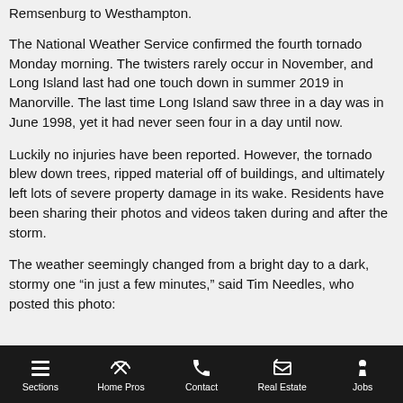Remsenburg to Westhampton.
The National Weather Service confirmed the fourth tornado Monday morning. The twisters rarely occur in November, and Long Island last had one touch down in summer 2019 in Manorville. The last time Long Island saw three in a day was in June 1998, yet it had never seen four in a day until now.
Luckily no injuries have been reported. However, the tornado blew down trees, ripped material off of buildings, and ultimately left lots of severe property damage in its wake. Residents have been sharing their photos and videos taken during and after the storm.
The weather seemingly changed from a bright day to a dark, stormy one "in just a few minutes," said Tim Needles, who posted this photo:
Sections   Home Pros   Contact   Real Estate   Jobs